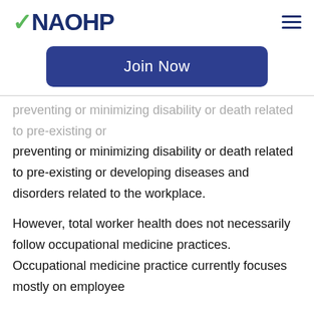NAOHP
[Figure (other): Join Now button - dark navy blue rounded rectangle button with white text]
preventing or minimizing disability or death related to pre-existing or developing diseases and disorders related to the workplace.
However, total worker health does not necessarily follow occupational medicine practices. Occupational medicine practice currently focuses mostly on employee